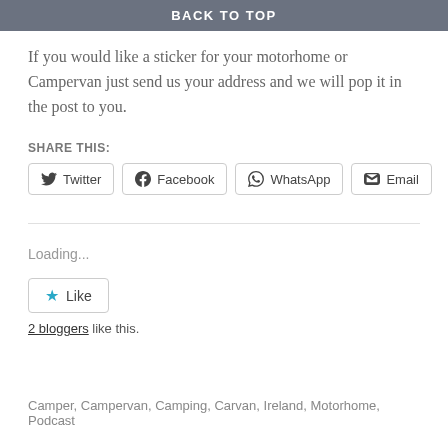BACK TO TOP
If you would like a sticker for your motorhome or Campervan just send us your address and we will pop it in the post to you.
SHARE THIS:
Twitter  Facebook  WhatsApp  Email
Loading...
Like
2 bloggers like this.
Camper, Campervan, Camping, Carvan, Ireland, Motorhome, Podcast